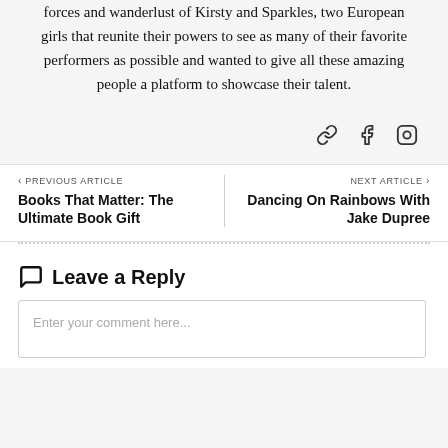forces and wanderlust of Kirsty and Sparkles, two European girls that reunite their powers to see as many of their favorite performers as possible and wanted to give all these amazing people a platform to showcase their talent.
[Figure (infographic): Social media icons: link/chain icon, Facebook icon, Instagram icon]
< PREVIOUS ARTICLE
Books That Matter: The Ultimate Book Gift
NEXT ARTICLE >
Dancing On Rainbows With Jake Dupree
Leave a Reply
Enter your comment here...